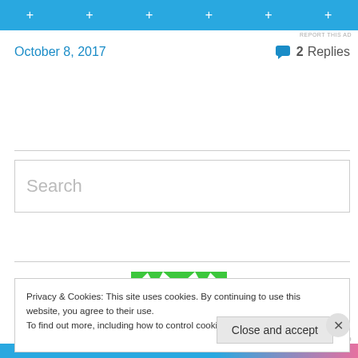[Figure (other): Blue ad banner at top with plus/cross icons]
REPORT THIS AD
October 8, 2017
2 Replies
Search
[Figure (logo): Green geometric diamond/kaleidoscope pattern logo]
Privacy & Cookies: This site uses cookies. By continuing to use this website, you agree to their use.
To find out more, including how to control cookies, see here: Cookie Policy
Close and accept